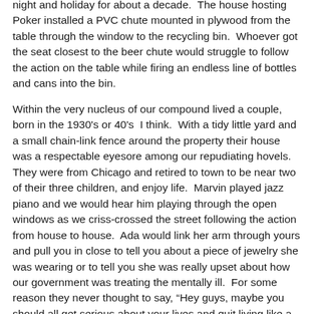night and holiday for about a decade.  The house hosting Poker installed a PVC chute mounted in plywood from the table through the window to the recycling bin.  Whoever got the seat closest to the beer chute would struggle to follow the action on the table while firing an endless line of bottles and cans into the bin.
Within the very nucleus of our compound lived a couple, born in the 1930's or 40's  I think.  With a tidy little yard and a small chain-link fence around the property their house was a respectable eyesore among our repudiating hovels. They were from Chicago and retired to town to be near two of their three children, and enjoy life.  Marvin played jazz piano and we would hear him playing through the open windows as we criss-crossed the street following the action from house to house.  Ada would link her arm through yours and pull you in close to tell you about a piece of jewelry she was wearing or to tell you she was really upset about how our government was treating the mentally ill.  For some reason they never thought to say, “Hey guys, maybe you should all get serious about your lives and quit living like a bunch of pirates returned to port after 6